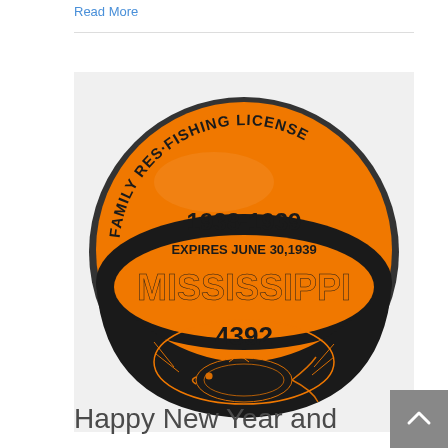Read More
[Figure (photo): A circular orange and black Mississippi Family Resident Fishing License button/badge for 1938-1939, expires June 30, 1939, serial number 4392, featuring a fish illustration at the bottom.]
Happy New Year and